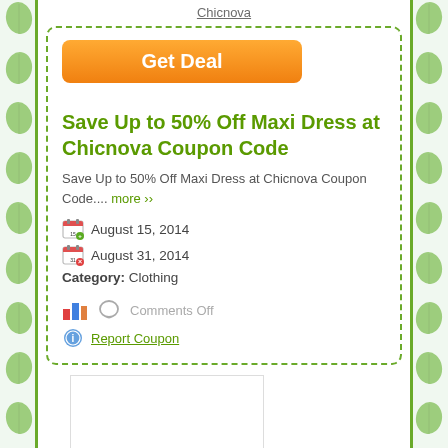Chicnova
[Figure (other): Orange Get Deal button]
Save Up to 50% Off Maxi Dress at Chicnova Coupon Code
Save Up to 50% Off Maxi Dress at Chicnova Coupon Code.... more ››
August 15, 2014
August 31, 2014
Category: Clothing
Comments Off
Report Coupon
[Figure (other): White rectangular box at the bottom]